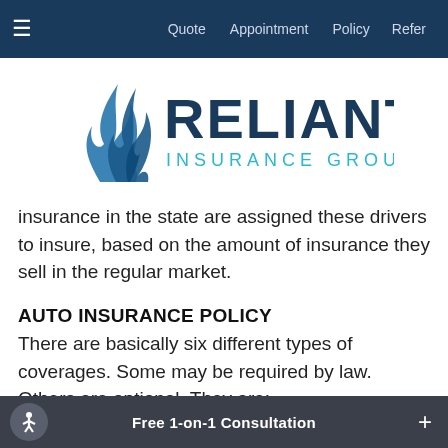≡  Quote  Appointment  Policy  Refer
[Figure (logo): Reliant Insurance Group logo with blue flame/wave icon, dark blue RELIANT text, and cyan INSURANCE GROUP text]
insurance in the state are assigned these drivers to insure, based on the amount of insurance they sell in the regular market.
AUTO INSURANCE POLICY
There are basically six different types of coverages. Some may be required by law. Others are optional. They are:
1. Bodily injury liability, for injuries the policyholder causes to
Free 1-on-1 Consultation